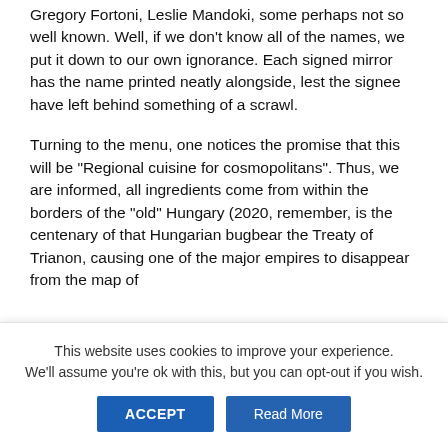Gregory Fortoni, Leslie Mandoki, some perhaps not so well known. Well, if we don't know all of the names, we put it down to our own ignorance. Each signed mirror has the name printed neatly alongside, lest the signee have left behind something of a scrawl.
Turning to the menu, one notices the promise that this will be “Regional cuisine for cosmopolitans”. Thus, we are informed, all ingredients come from within the borders of the “old” Hungary (2020, remember, is the centenary of that Hungarian bugbear the Treaty of Trianon, causing one of the major empires to disappear from the map of
This website uses cookies to improve your experience. We'll assume you're ok with this, but you can opt-out if you wish.